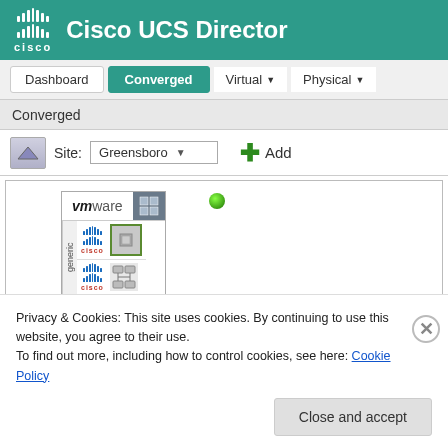Cisco UCS Director
[Figure (screenshot): Cisco UCS Director web interface showing Converged tab selected, with Dashboard, Virtual, and Physical navigation items. Site selector showing Greensboro with an Add button. A VMware converged infrastructure diagram showing Cisco UCS components inside a generic container with a green status dot.]
Privacy & Cookies: This site uses cookies. By continuing to use this website, you agree to their use.
To find out more, including how to control cookies, see here: Cookie Policy
Close and accept